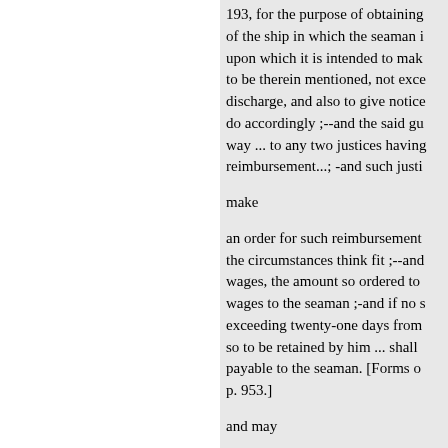193, for the purpose of obtaining of the ship in which the seaman upon which it is intended to make to be therein mentioned, not exce discharge, and also to give notice do accordingly ;--and the said gu way ... to any two justices having reimbursement...; -and such justi make
an order for such reimbursement the circumstances think fit ;--and wages, the amount so ordered to wages to the seaman ;-and if no s exceeding twenty-one days from so to be retained by him ... shall payable to the seaman. [Forms o p. 953.]
and may
SEARCH WARRA
A justice may grant a searc (amongst others) :-